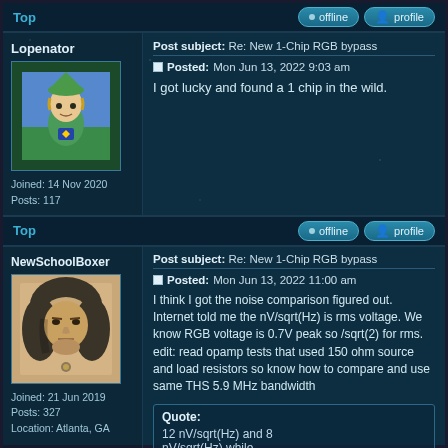Top  offline  profile
Lopenator
Post subject: Re: New 1-Chip RGB bypass
Posted: Mon Jun 13, 2022 9:03 am
I got lucky and found a 1 chip in the wild.
Joined: 14 Nov 2020
Posts: 117
Top  offline  profile
NewSchoolBoxer
Post subject: Re: New 1-Chip RGB bypass
Posted: Mon Jun 13, 2022 11:00 am
I think I got the noise comparison figured out. Internet told me the nV/sqrt(Hz) is rms voltage. We know RGB voltage is 0.7V peak so /sqrt(2) for rms.
edit: read opamp tests that used 150 ohm source and load resistors so know how to compare and use same THS 5.9 MHz bandwidth
Joined: 21 Jun 2019
Posts: 327
Location: Atlanta, GA
Quote:
12 nV/sqrt(Hz) and 8 nV/sqrt(Hz) while